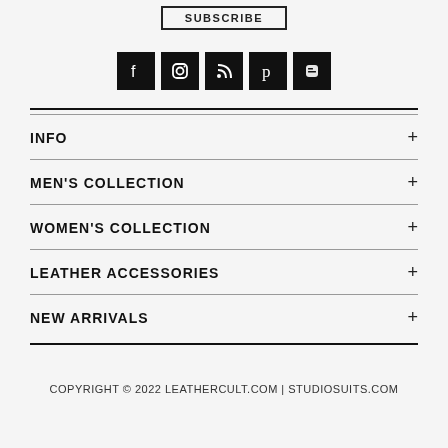SUBSCRIBE
[Figure (infographic): Row of 5 social media icons (Facebook, Instagram, RSS, Pinterest, Blogger) as white icons on black square backgrounds]
INFO +
MEN'S COLLECTION +
WOMEN'S COLLECTION +
LEATHER ACCESSORIES +
NEW ARRIVALS +
COPYRIGHT © 2022 LEATHERCULT.COM | STUDIOSUITS.COM